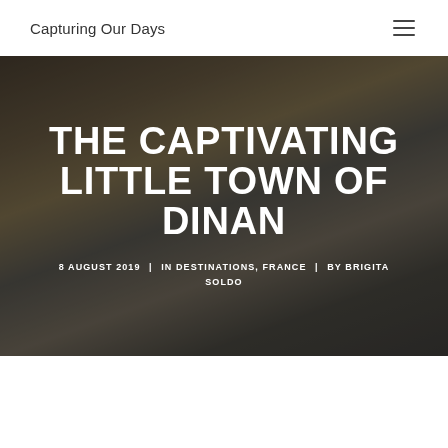Capturing Our Days
[Figure (photo): Hero background photo of a historic cobblestone street in Dinan, France, showing medieval half-timbered buildings with a dark overlay]
THE CAPTIVATING LITTLE TOWN OF DINAN
8 AUGUST 2019 | IN DESTINATIONS, FRANCE | BY BRIGITA SOLDO